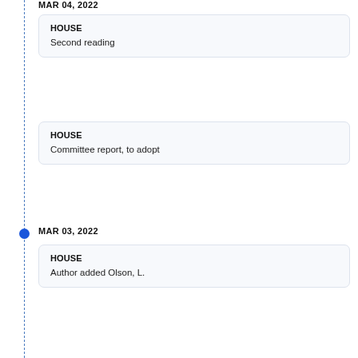MAR 04, 2022 (partial, cut off at top)
HOUSE — Second reading
HOUSE — Committee report, to adopt
MAR 03, 2022
HOUSE — Author added Olson, L.